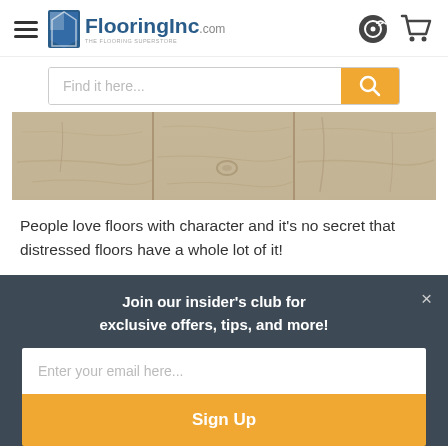FlooringInc.com — THE FLOORING SUPERSTORE
[Figure (screenshot): Search bar with placeholder text 'Find it here...' and orange search button]
[Figure (photo): Close-up photo of distressed hardwood flooring planks in light grey/beige tones]
People love floors with character and it's no secret that distressed floors have a whole lot of it!
Join our insider's club for exclusive offers, tips, and more!
Enter your email here...
Sign Up